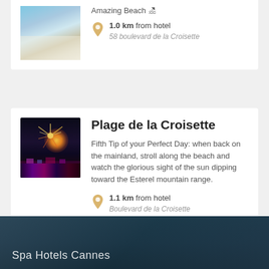[Figure (photo): Beach photo with white umbrellas and blue sky, partial view at top of card]
Amazing Beach 🏖
1.0 km from hotel
58 boulevard de la Croisette
[Figure (photo): Night fireworks over water with colorful lights on the shore]
Plage de la Croisette
Fifth Tip of your Perfect Day: when back on the mainland, stroll along the beach and watch the glorious sight of the sun dipping toward the Esterel mountain range.
1.1 km from hotel
Boulevard de la Croisette
Spa Hotels Cannes